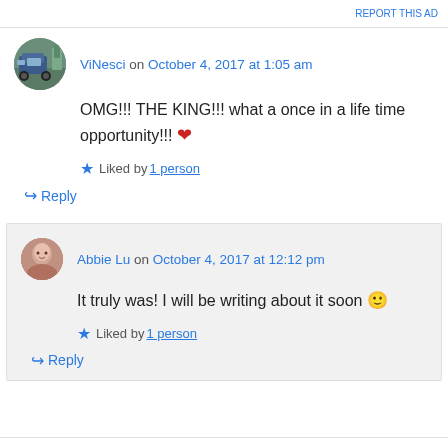REPORT THIS AD
ViNesci on October 4, 2017 at 1:05 am
OMG!!! THE KING!!! what a once in a life time opportunity!!! ❤
★ Liked by 1 person
↪ Reply
Abbie Lu on October 4, 2017 at 12:12 pm
It truly was! I will be writing about it soon 🙂
★ Liked by 1 person
↪ Reply